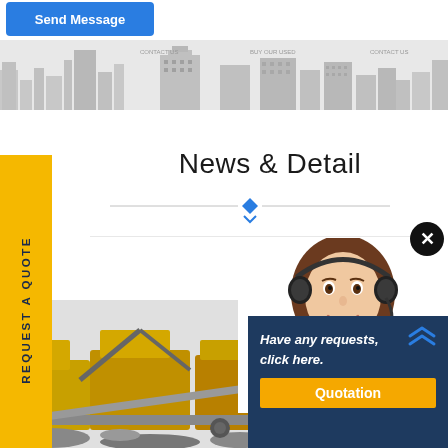[Figure (screenshot): Send Message button - blue rounded rectangle]
[Figure (illustration): City skyline silhouette banner strip in light gray]
[Figure (illustration): Yellow vertical sidebar with text REQUEST A QUOTE rotated 90 degrees]
News & Detail
[Figure (illustration): Horizontal divider line with blue diamond in center]
[Figure (photo): Close/X button - black circle with white X]
[Figure (photo): Customer service woman with headset smiling]
[Figure (photo): Yellow heavy mining/crushing equipment machinery at bottom]
[Figure (infographic): Dark blue chat popup box with text 'Have any requests, click here.' and orange Quotation button with chevron arrows]